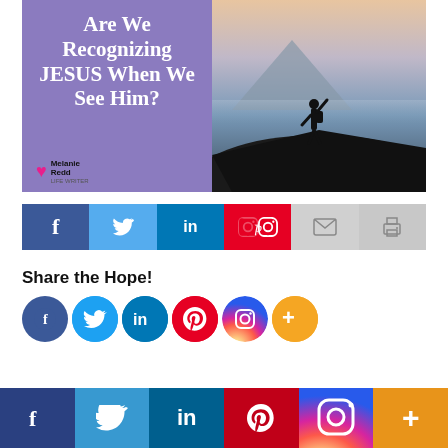[Figure (illustration): Blog post graphic split into two halves: left half has purple background with white text 'Are We Recognizing JESUS When We See Him?' and a pink heart logo with 'Melanie Redd' branding; right half shows a silhouette of a person with arms raised on a mountain peak at sunset.]
[Figure (infographic): Social share bar with buttons: Facebook (dark blue), Twitter (light blue), LinkedIn (blue), Pinterest (red), Email (light gray envelope icon), Print (light gray printer icon).]
Share the Hope!
[Figure (infographic): Row of circular social media icons: Facebook (dark blue), Twitter (light blue), LinkedIn (blue), Pinterest (red/white), Instagram (gradient), More/Plus (orange).]
[Figure (infographic): Bottom social media bar with large icons: Facebook (dark blue), Twitter (medium blue), LinkedIn (dark teal), Pinterest (dark red), Instagram (gradient), More/Plus (orange).]